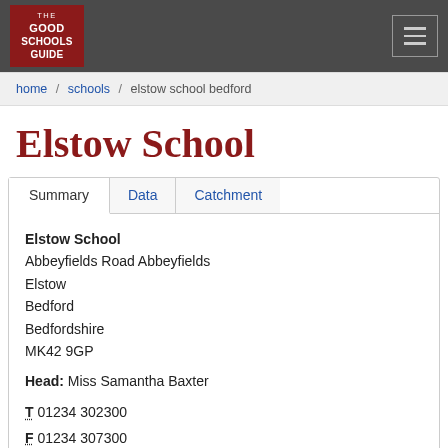THE GOOD SCHOOLS GUIDE
home / schools / elstow school bedford
Elstow School
Summary | Data | Catchment
Elstow School
Abbeyfields Road Abbeyfields
Elstow
Bedford
Bedfordshire
MK42 9GP
Head: Miss Samantha Baxter
T 01234 302300
F 01234 307300